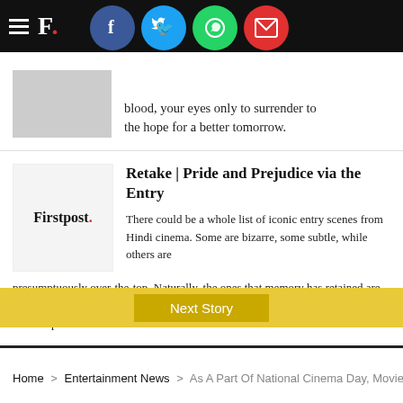Firstpost. navigation bar with hamburger menu and social sharing icons (Facebook, Twitter, WhatsApp, Email)
blood, your eyes only to surrender to the hope for a better tomorrow.
Retake | Pride and Prejudice via the Entry
There could be a whole list of iconic entry scenes from Hindi cinema. Some are bizarre, some subtle, while others are presumptuously over-the-top. Naturally, the ones that memory has retained are the ones that either do the improbable or subversively, lead you on with a sense of anticipation.
Next Story
Home > Entertainment News > As A Part Of National Cinema Day, Movie Ticke